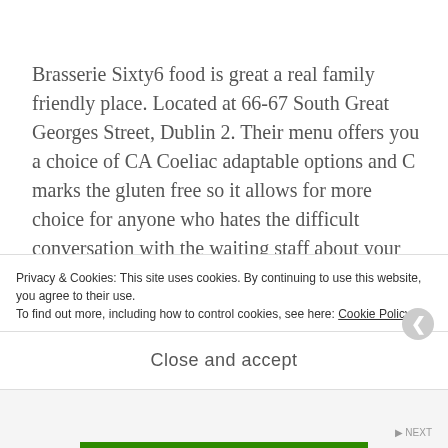Brasserie Sixty6 food is great a real family friendly place. Located at 66-67 South Great Georges Street, Dublin 2. Their menu offers you a choice of CA Coeliac adaptable options and C marks the gluten free so it allows for more choice for anyone who hates the difficult conversation with the waiting staff about your GF options, this is perfect! All their food is cooked to order and their ingredients are sourced
Privacy & Cookies: This site uses cookies. By continuing to use this website, you agree to their use.
To find out more, including how to control cookies, see here: Cookie Policy
Close and accept